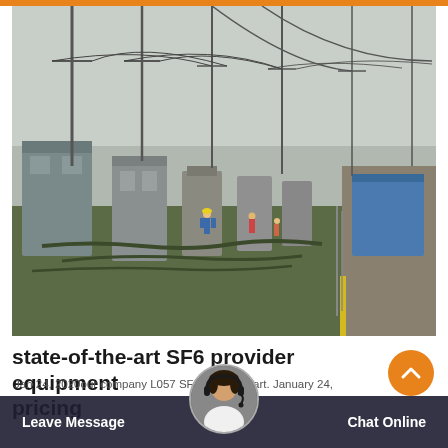[Figure (photo): Outdoor electrical substation with large transformers, high-voltage power lines, and workers in the foreground. The substation has metal structures, cables on the ground, and a fenced area with a blue building on the right side.]
state-of-the-art SF6 provider equipment pricing
Jan 24, 2020our company L057 SF6 Service Cart. January 24,